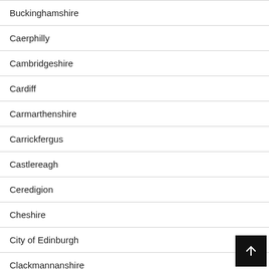Buckinghamshire
Caerphilly
Cambridgeshire
Cardiff
Carmarthenshire
Carrickfergus
Castlereagh
Ceredigion
Cheshire
City of Edinburgh
Clackmannanshire